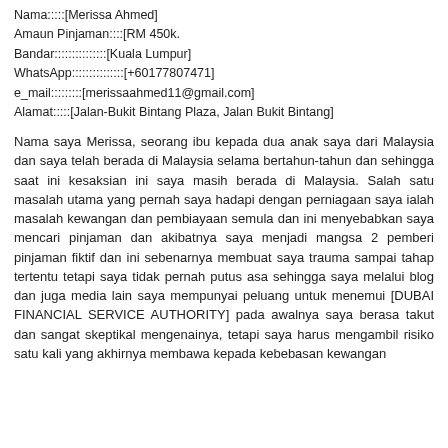Nama:::::[Merissa Ahmed]
Amaun Pinjaman::::[RM 450k.
Bandar:::::::::::::::[Kuala Lumpur]
WhatsApp:::::::::::::::[+60177807471]
e_mail:::::::::[merissaahmed11@gmail.com]
Alamat:::::[Jalan-Bukit Bintang Plaza, Jalan Bukit Bintang]
Nama saya Merissa, seorang ibu kepada dua anak saya dari Malaysia dan saya telah berada di Malaysia selama bertahun-tahun dan sehingga saat ini kesaksian ini saya masih berada di Malaysia. Salah satu masalah utama yang pernah saya hadapi dengan perniagaan saya ialah masalah kewangan dan pembiayaan semula dan ini menyebabkan saya mencari pinjaman dan akibatnya saya menjadi mangsa 2 pemberi pinjaman fiktif dan ini sebenarnya membuat saya trauma sampai tahap tertentu tetapi saya tidak pernah putus asa sehingga saya melalui blog dan juga media lain saya mempunyai peluang untuk menemui [DUBAI FINANCIAL SERVICE AUTHORITY] pada awalnya saya berasa takut dan sangat skeptikal mengenainya, tetapi saya harus mengambil risiko satu kali yang akhirnya membawa kepada kebebasan kewangan